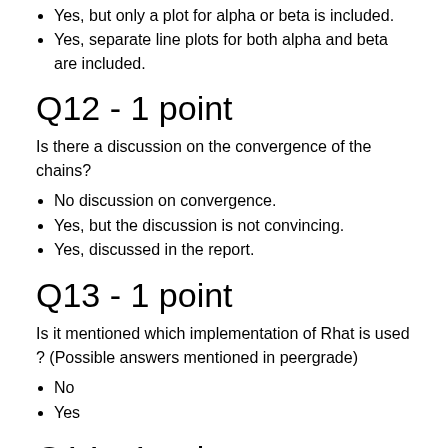Yes, but only a plot for alpha or beta is included.
Yes, separate line plots for both alpha and beta are included.
Q12 - 1 point
Is there a discussion on the convergence of the chains?
No discussion on convergence.
Yes, but the discussion is not convincing.
Yes, discussed in the report.
Q13 - 1 point
Is it mentioned which implementation of Rhat is used ? (Possible answers mentioned in peergrade)
No
Yes
Q14 - 1 point
Is the brief description of Rhat included (and it's not complete nonsense)? Provide also a brief comment on how clear you think that description is (and potentially mention errors if you see them).